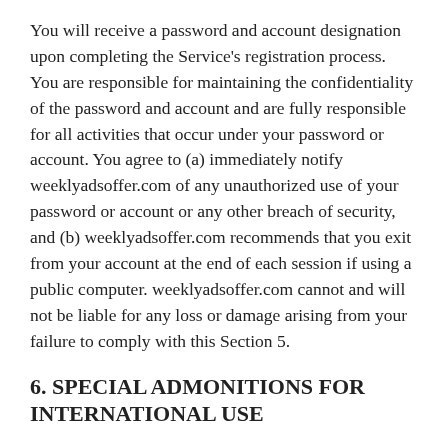You will receive a password and account designation upon completing the Service's registration process. You are responsible for maintaining the confidentiality of the password and account and are fully responsible for all activities that occur under your password or account. You agree to (a) immediately notify weeklyadsoffer.com of any unauthorized use of your password or account or any other breach of security, and (b) weeklyadsoffer.com recommends that you exit from your account at the end of each session if using a public computer. weeklyadsoffer.com cannot and will not be liable for any loss or damage arising from your failure to comply with this Section 5.
6. SPECIAL ADMONITIONS FOR INTERNATIONAL USE
Recognizing the global nature of the Internet, you agree